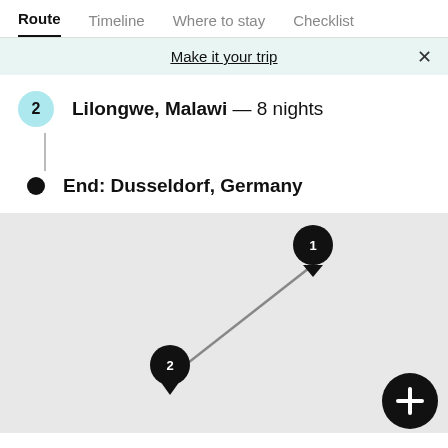Route | Timeline | Where to stay | Checklist
Make it your trip
Lilongwe, Malawi — 8 nights
End: Dusseldorf, Germany
[Figure (map): Map showing route from pin 1 (upper right, representing Dusseldorf, Germany or Europe) to pin 2 (lower left, representing Lilongwe, Malawi) connected by a gray line. A dark circular button with a plus sign is in the lower right corner.]